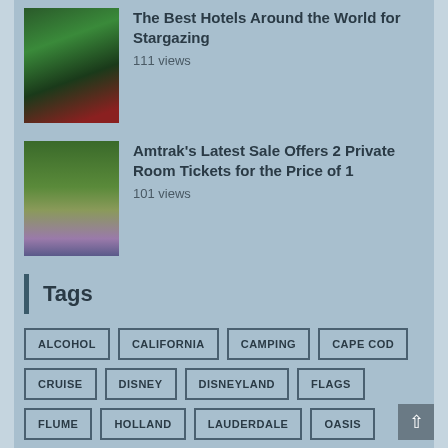[Figure (photo): Dark glass dome hotel interior with figure visible, northern lights green glow outside]
The Best Hotels Around the World for Stargazing
111 views
[Figure (photo): Scenic landscape with forest and purple wildflower meadow]
Amtrak's Latest Sale Offers 2 Private Room Tickets for the Price of 1
101 views
Tags
ALCOHOL
CALIFORNIA
CAMPING
CAPE COD
CRUISE
DISNEY
DISNEYLAND
FLAGS
FLUME
HOLLAND
LAUDERDALE
OASIS
PENNSYLVANIA
RIVERBOAT
RUNS
SEAS
SKI
SKIER
SNOWBOARD
THEME PARK